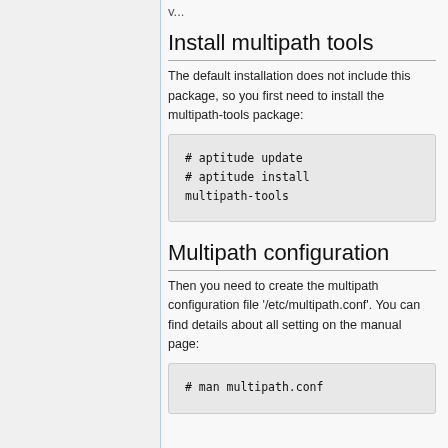Install multipath tools
The default installation does not include this package, so you first need to install the multipath-tools package:
# aptitude update
# aptitude install multipath-tools
Multipath configuration
Then you need to create the multipath configuration file '/etc/multipath.conf'. You can find details about all setting on the manual page:
# man multipath.conf